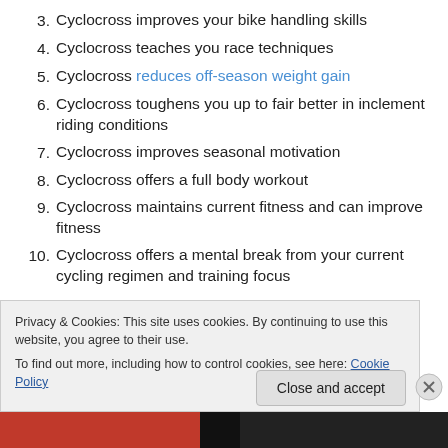3. Cyclocross improves your bike handling skills
4. Cyclocross teaches you race techniques
5. Cyclocross reduces off-season weight gain
6. Cyclocross toughens you up to fair better in inclement riding conditions
7. Cyclocross improves seasonal motivation
8. Cyclocross offers a full body workout
9. Cyclocross maintains current fitness and can improve fitness
10. Cyclocross offers a mental break from your current cycling regimen and training focus
Privacy & Cookies: This site uses cookies. By continuing to use this website, you agree to their use. To find out more, including how to control cookies, see here: Cookie Policy